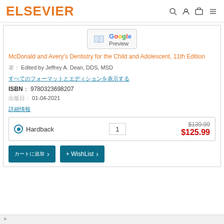ELSEVIER
[Figure (logo): Google Preview badge with book icon]
McDonald and Avery's Dentistry for the Child and Adolescent, 11th Edition
著: Edited by Jeffrey A. Dean, DDS, MSD
すべてのフォーマットとエディションを表示する
ISBN: 9780323698207
出版日: 01-04-2021
詳細情報
| Format | Qty | Price |
| --- | --- | --- |
| Hardback | 1 | $125.99 |
カートに追加 | + WishList